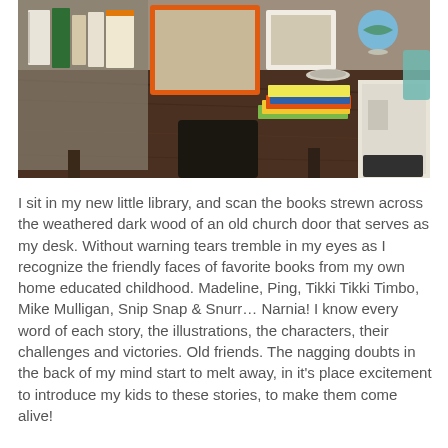[Figure (photo): A wooden desk made from an old weathered dark church door, with books and framed pictures arranged on top. A globe, a small dish, and a glass cup are also visible. A white cabinet sits to the right.]
I sit in my new little library, and scan the books strewn across the weathered dark wood of an old church door that serves as my desk. Without warning tears tremble in my eyes as I recognize the friendly faces of favorite books from my own home educated childhood. Madeline, Ping, Tikki Tikki Timbo, Mike Mulligan, Snip Snap & Snurr… Narnia! I know every word of each story, the illustrations, the characters, their challenges and victories. Old friends. The nagging doubts in the back of my mind start to melt away, in it's place excitement to introduce my kids to these stories, to make them come alive!